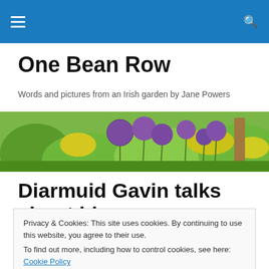Navigation bar with hamburger menu and search icon
One Bean Row
Words and pictures from an Irish garden by Jane Powers
[Figure (photo): Garden photo banner showing purple allium flowers and green foliage]
Diarmuid Gavin talks about his
Privacy & Cookies: This site uses cookies. By continuing to use this website, you agree to their use.
To find out more, including how to control cookies, see here: Cookie Policy
Close and accept
glossy starling keeps up a spirited commentary on the